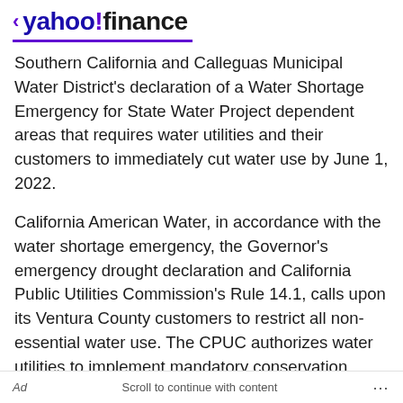< yahoo!finance
Southern California and Calleguas Municipal Water District's declaration of a Water Shortage Emergency for State Water Project dependent areas that requires water utilities and their customers to immediately cut water use by June 1, 2022.
California American Water, in accordance with the water shortage emergency, the Governor's emergency drought declaration and California Public Utilities Commission's Rule 14.1, calls upon its Ventura County customers to restrict all non-essential water use. The CPUC authorizes water utilities to implement mandatory conservation measures when the utility determines that water supplies may be insufficient to meet customer demands.
Ad   Scroll to continue with content   ...